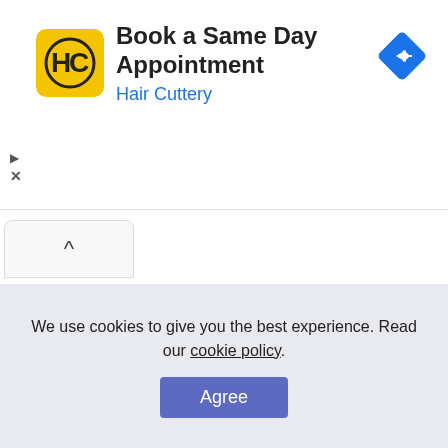[Figure (screenshot): Hair Cuttery advertisement banner with yellow HC logo, title 'Book a Same Day Appointment', brand name 'Hair Cuttery' in blue, and a blue diamond navigation arrow icon on the right]
[Figure (screenshot): Expand/collapse button with upward chevron arrow at top left of page content area]
We use cookies to give you the best experience. Read our cookie policy.
Agree